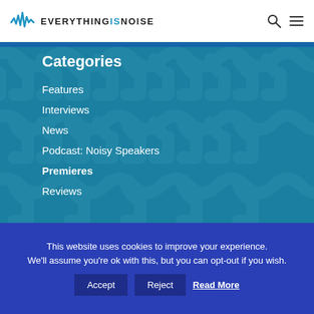EVERYTHINGSNOISE
Categories
Features
Interviews
News
Podcast: Noisy Speakers
Premieres
Reviews
This website uses cookies to improve your experience. We'll assume you're ok with this, but you can opt-out if you wish.
Accept | Reject | Read More